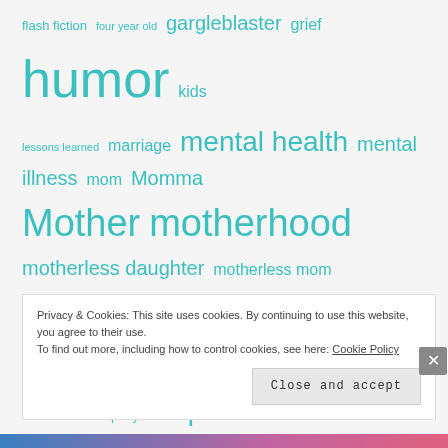flash fiction four year old gargleblaster grief humor kids lessons learned marriage mental health mental illness mom Momma Mother motherhood motherless daughter motherless mom music Parenting parenting survivors potty mouth ptsd recovery relationships SAHM shame speaking up spirituality suicide Survivors thirtysomething trauma trigger points anthology wife women writing WTF yeah write
Privacy & Cookies: This site uses cookies. By continuing to use this website, you agree to their use. To find out more, including how to control cookies, see here: Cookie Policy  Close and accept